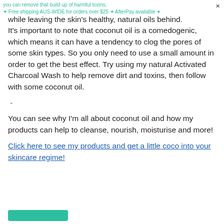✦ Free shipping AUS-WIDE for orders over $25 ✦ AfterPay available ✦
you can remove that build up of harmful toxins, while leaving the skin's healthy, natural oils behind. It's important to note that coconut oil is a comedogenic, which means it can have a tendency to clog the pores of some skin types. So you only need to use a small amount in order to get the best effect. Try using my natural Activated Charcoal Wash to help remove dirt and toxins, then follow with some coconut oil.
-
You can see why I'm all about coconut oil and how my products can help to cleanse, nourish, moisturise and more!
Click here to see my products and get a little coco into your skincare regime!